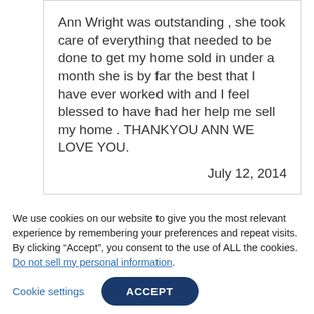Ann Wright was outstanding , she took care of everything that needed to be done to get my home sold in under a month she is by far the best that I have ever worked with and I feel blessed to have had her help me sell my home . THANKYOU ANN WE LOVE YOU.
July 12, 2014
We use cookies on our website to give you the most relevant experience by remembering your preferences and repeat visits. By clicking "Accept", you consent to the use of ALL the cookies. Do not sell my personal information.
Cookie settings
ACCEPT